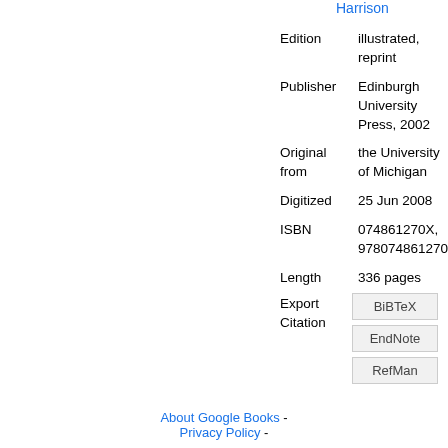Harrison
| Field | Value |
| --- | --- |
| Edition | illustrated, reprint |
| Publisher | Edinburgh University Press, 2002 |
| Original from | the University of Michigan |
| Digitized | 25 Jun 2008 |
| ISBN | 074861270X, 9780748612703 |
| Length | 336 pages |
Export Citation
BiBTeX
EndNote
RefMan
About Google Books - Privacy Policy -